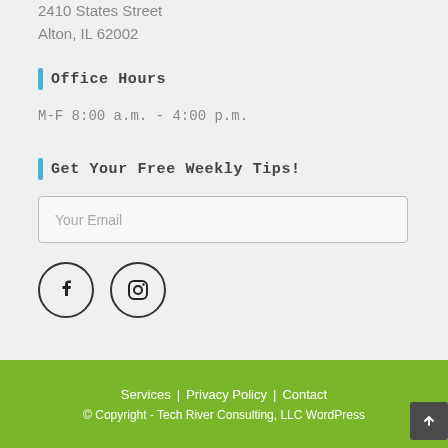2410 States Street
Alton, IL 62002
Office Hours
M-F 8:00 a.m. - 4:00 p.m.
Get Your Free Weekly Tips!
Your Email
[Figure (other): Social media icons: Facebook and Instagram circular icon buttons]
Services | Privacy Policy | Contact
© Copyright - Tech River Consulting, LLC WordPress